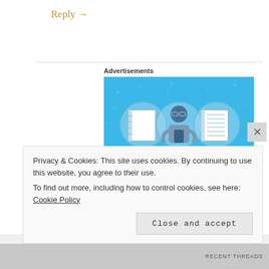Reply →
Advertisements
[Figure (illustration): Day One journaling app advertisement on blue background with illustrated figure and notebook icons. Text reads: DAY ONE - The only journaling app you'll ever need. Get the app button.]
Privacy & Cookies: This site uses cookies. By continuing to use this website, you agree to their use.
To find out more, including how to control cookies, see here: Cookie Policy
Close and accept